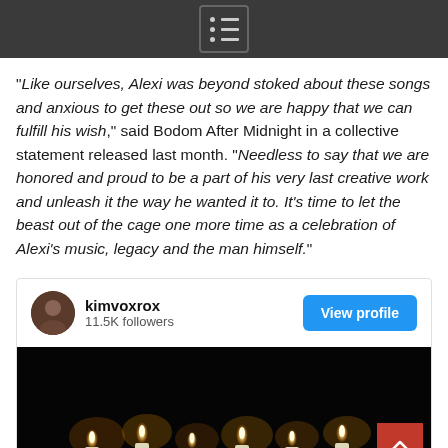Menu icon / navigation header
"Like ourselves, Alexi was beyond stoked about these songs and anxious to get these out so we are happy that we can fulfill his wish," said Bodom After Midnight in a collective statement released last month. "Needless to say that we are honored and proud to be a part of his very last creative work and unleash it the way he wanted it to. It's time to let the beast out of the cage one more time as a celebration of Alexi's music, legacy and the man himself."
[Figure (screenshot): Social media profile card showing kimvoxrox with 11.5K followers and a View profile button, followed by a dark photo of lit candles]
kimvoxrox — 11.5K followers